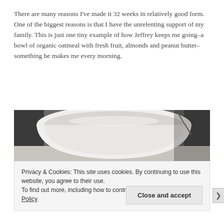There are many reasons I've made it 32 weeks in relatively good form. One of the biggest reasons is that I have the unrelenting support of my family. This is just one tiny example of how Jeffrey keeps me going–a bowl of organic oatmeal with fresh fruit, almonds and peanut butter–something he makes me every morning.
[Figure (photo): Close-up photo of a white ceramic bowl, seen from slightly above, with a dark background behind it suggesting a kitchen setting.]
Privacy & Cookies: This site uses cookies. By continuing to use this website, you agree to their use.
To find out more, including how to control cookies, see here: Cookie Policy
Close and accept